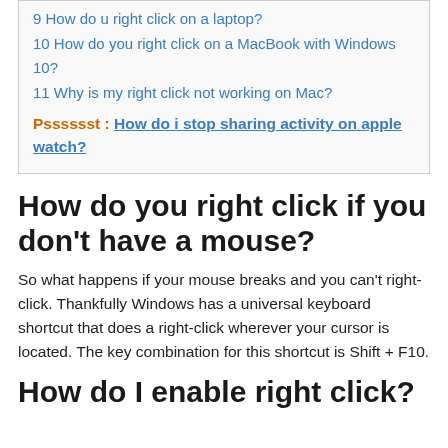9 How do u right click on a laptop?
10 How do you right click on a MacBook with Windows 10?
11 Why is my right click not working on Mac?
Psssssst : How do i stop sharing activity on apple watch?
How do you right click if you don't have a mouse?
So what happens if your mouse breaks and you can't right-click. Thankfully Windows has a universal keyboard shortcut that does a right-click wherever your cursor is located. The key combination for this shortcut is Shift + F10.
How do I enable right click?